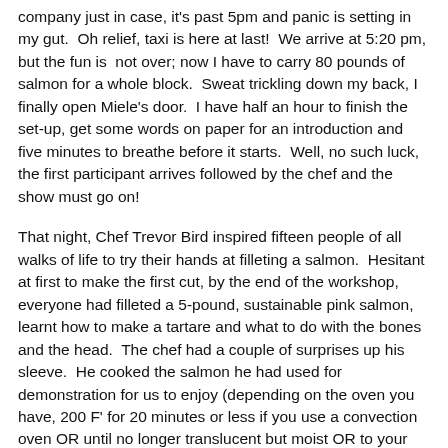company just in case, it's past 5pm and panic is setting in my gut. Oh relief, taxi is here at last! We arrive at 5:20 pm, but the fun is not over; now I have to carry 80 pounds of salmon for a whole block. Sweat trickling down my back, I finally open Miele's door. I have half an hour to finish the set-up, get some words on paper for an introduction and five minutes to breathe before it starts. Well, no such luck, the first participant arrives followed by the chef and the show must go on!
That night, Chef Trevor Bird inspired fifteen people of all walks of life to try their hands at filleting a salmon. Hesitant at first to make the first cut, by the end of the workshop, everyone had filleted a 5-pound, sustainable pink salmon, learnt how to make a tartare and what to do with the bones and the head. The chef had a couple of surprises up his sleeve. He cooked the salmon he had used for demonstration for us to enjoy (depending on the oven you have, 200 F' for 20 minutes or less if you use a convection oven OR until no longer translucent but moist OR to your personal taste). He even made a great tasting tartare out of the trimmings. The only thing missing was a nice glass of Pinot gris from the Okanagan valley, especially for me! The